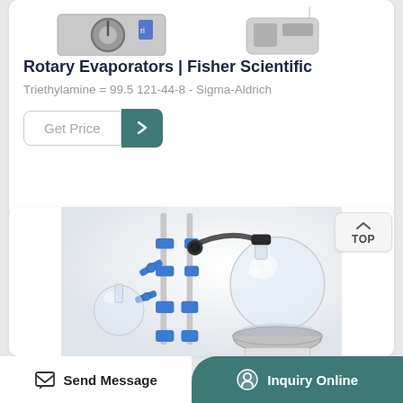[Figure (photo): Partial view of rotary evaporator equipment at top of card]
Rotary Evaporators | Fisher Scientific
Triethylamine = 99.5 121-44-8 - Sigma-Aldrich
Get Price →
[Figure (photo): Rotary evaporator with glass flask, blue clamps, metal stand, and heating bath on a white surface]
TOP
Send Message
Inquiry Online